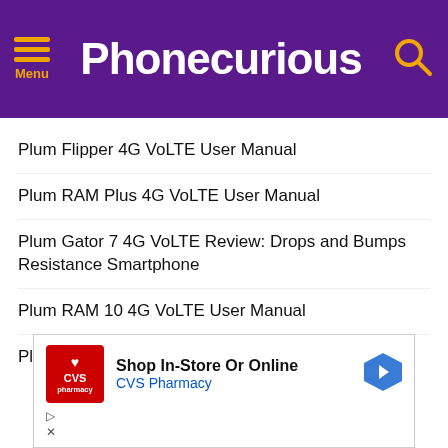Phonecurious
Plum Flipper 4G VoLTE User Manual
Plum RAM Plus 4G VoLTE User Manual
Plum Gator 7 4G VoLTE Review: Drops and Bumps Resistance Smartphone
Plum RAM 10 4G VoLTE User Manual
Plum Flipper 4G VoLTE Review: Classic Flip Phone
[Figure (screenshot): CVS Pharmacy advertisement: Shop In-Store Or Online]